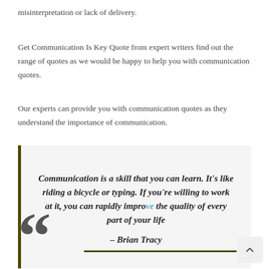misinterpretation or lack of delivery.
Get Communication Is Key Quote from expert writers find out the range of quotes as we would be happy to help you with communication quotes.
Our experts can provide you with communication quotes as they understand the importance of communication.
Communication is a skill that you can learn. It’s like riding a bicycle or typing. If you’re willing to work at it, you can rapidly improve the quality of every part of your life

– Brian Tracy